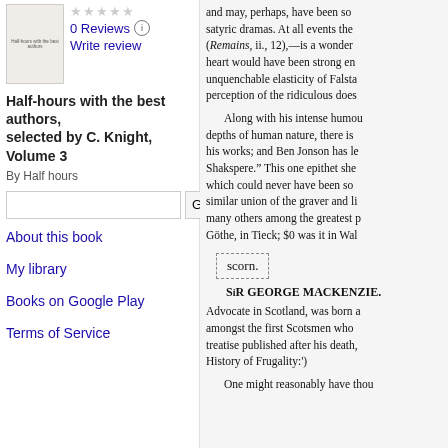[Figure (illustration): Book cover thumbnail for Half-hours with the best authors]
0 Reviews
Write review
Half-hours with the best authors, selected by C. Knight, Volume 3
By Half hours
About this book
My library
Books on Google Play
Terms of Service
and may, perhaps, have been so satyric dramas. At all events the (Remains, ii., 12),—is a wonder heart would have been strong eno unquenchable elasticity of Falsta perception of the ridiculous does
Along with his intense humou depths of human nature, there is his works; and Ben Jonson has le Shakspere.” This one epithet she which could never have been so similar union of the graver and li many others among the greatest p Göthe, in Tieck; $0 was it in Wal
scorn.
SiR GEORGE MACKENZIE. Advocate in Scotland, was born a amongst the first Scotsmen who treatise published after his death, History of Frugality:')
One might reasonably have thou